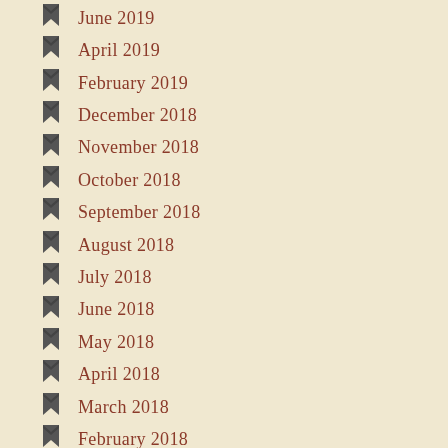June 2019
April 2019
February 2019
December 2018
November 2018
October 2018
September 2018
August 2018
July 2018
June 2018
May 2018
April 2018
March 2018
February 2018
January 2018
December 2017
November 2017
October 2017